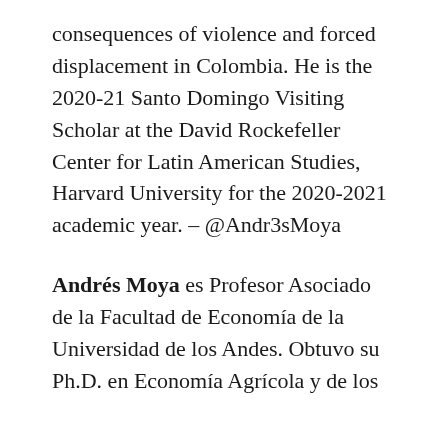consequences of violence and forced displacement in Colombia. He is the 2020-21 Santo Domingo Visiting Scholar at the David Rockefeller Center for Latin American Studies, Harvard University for the 2020-2021 academic year. – @Andr3sMoya
Andrés Moya es Profesor Asociado de la Facultad de Economía de la Universidad de los Andes. Obtuvo su Ph.D. en Economía Agrícola y de los